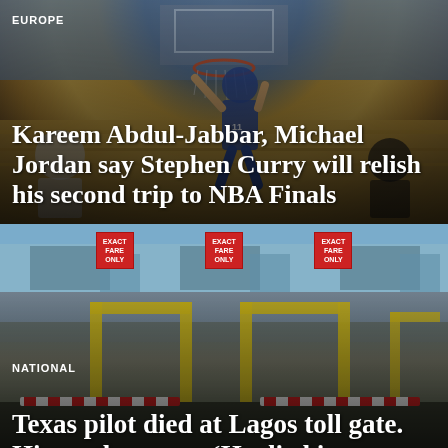[Figure (photo): Basketball player dunking at NBA game, view from behind the backboard]
EUROPE
Kareem Abdul-Jabbar, Michael Jordan say Stephen Curry will relish his second trip to NBA Finals
[Figure (photo): Toll gate with signs reading EXACT FARE ONLY, yellow barriers visible]
NATIONAL
Texas pilot died at Lagos toll gate. His mother says: ‘He died in my arms’